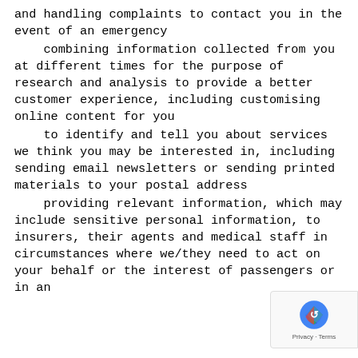and handling complaints to contact you in the event of an emergency
combining information collected from you at different times for the purpose of research and analysis to provide a better customer experience, including customising online content for you
to identify and tell you about services we think you may be interested in, including sending email newsletters or sending printed materials to your postal address
providing relevant information, which may include sensitive personal information, to insurers, their agents and medical staff in circumstances where we/they need to act on your behalf or the interest of passengers or in an